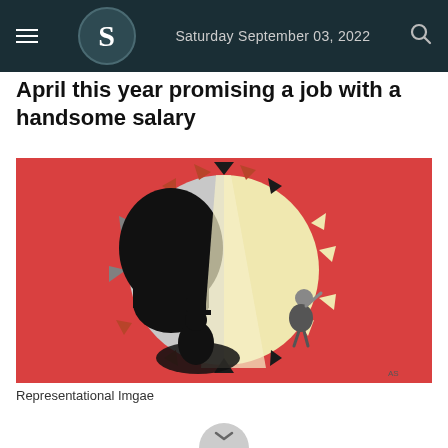Saturday September 03, 2022
April this year promising a job with a handsome salary
[Figure (illustration): Editorial illustration showing a virus/COVID-19 shaped circle with spikes. Inside the circle, a large black fist/shadow looms on the left side over a small figure on the right, set against a red background. Represents job fraud or exploitation during the pandemic.]
Representational Imgae